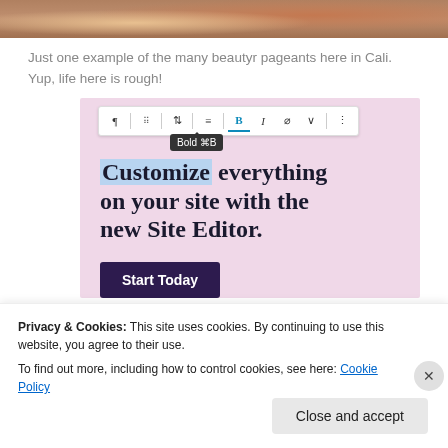[Figure (photo): Top portion of a photo showing people at what appears to be a beauty pageant event, cropped to show just the upper portion.]
Just one example of the many beautyr pageants here in Cali. Yup, life here is rough!
[Figure (screenshot): Screenshot of a WordPress block editor interface showing a toolbar with Bold (⌘B) tooltip active, and a pink promotional banner reading 'Customize everything on your site with the new Site Editor.' with a dark purple 'Start Today' button.]
Privacy & Cookies: This site uses cookies. By continuing to use this website, you agree to their use. To find out more, including how to control cookies, see here: Cookie Policy
Close and accept